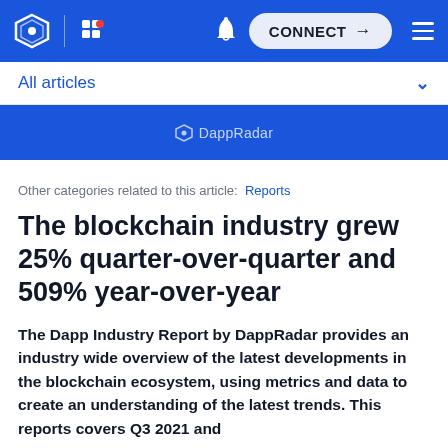DappRadar navigation bar with logo, grid icon, bell icon, CONNECT button, and hamburger menu
All articles
[Figure (screenshot): Blue DappRadar banner with logo text]
Other categories related to this article: Reports
The blockchain industry grew 25% quarter-over-quarter and 509% year-over-year
The Dapp Industry Report by DappRadar provides an industry wide overview of the latest developments in the blockchain ecosystem, using metrics and data to create an understanding of the latest trends. This reports covers Q3 2021 and